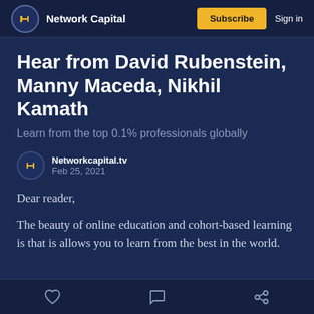Network Capital | Subscribe | Sign in
Hear from David Rubenstein, Manny Maceda, Nikhil Kamath
Learn from the top 0.1% professionals globally
Networkcapital.tv
Feb 25, 2021
Dear reader,
The beauty of online education and cohort-based learning is that is allows you to learn from the best in the world.
[heart icon] [comment icon] [share icon]